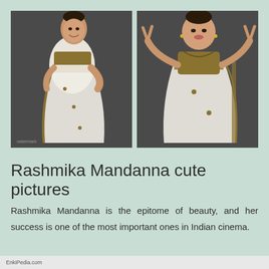[Figure (photo): Two photos of Rashmika Mandanna wearing a white and gold saree. Left photo shows her in a side pose with hand on hip, smiling. Right photo shows her making peace signs with both hands.]
Rashmika Mandanna cute pictures
Rashmika Mandanna is the epitome of beauty, and her success is one of the most important ones in Indian cinema.
EnkiPedia.com